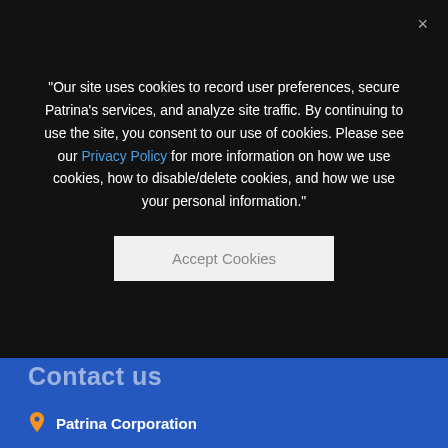"Our site uses cookies to record user preferences, secure Patrina's services, and analyze site traffic. By continuing to use the site, you consent to our use of cookies. Please see our Privacy Policy for more information on how we use cookies, how to disable/delete cookies, and how we use your personal information."
[Figure (screenshot): Accept Cookies button (light gray rectangle)]
Contact us
Patrina Corporation
45 Broadway, Suite 1440
New York, NY 10006
Telephone: 212.233.1155
info@patrina.com
Chat now